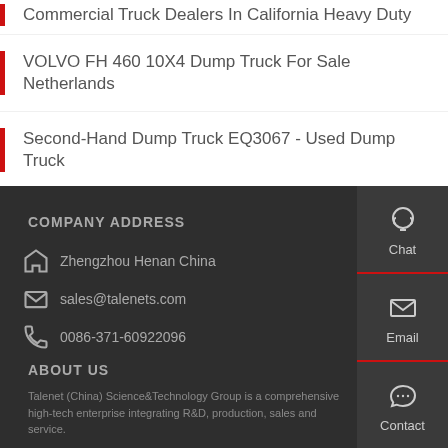Commercial Truck Dealers In California Heavy Duty
VOLVO FH 460 10X4 Dump Truck For Sale Netherlands
Second-Hand Dump Truck EQ3067 - Used Dump Truck
COMPANY ADDRESS
Zhengzhou Henan China
sales@talenets.com
0086-371-60922096
ABOUT US
Talenet (China) Science&Technology Group is a comprehensive high-tech enterprise integrating R&D, production, sales and service.